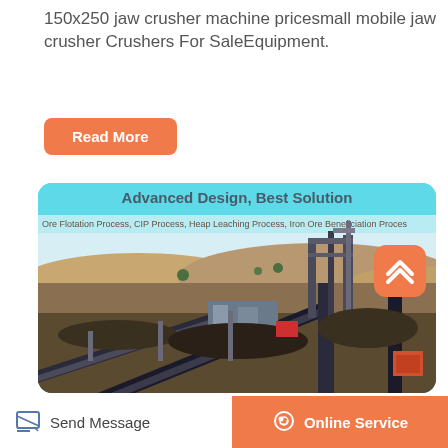150x250 jaw crusher machine pricesmall mobile jaw crusher Crushers For SaleEquipment.
Read More
[Figure (screenshot): Mining/quarry site showing industrial conveyor belts, crusher equipment, and processing machinery in an open-pit mining operation. Banner reads 'Advanced Design, Best Solution' with subtitle 'Ore Flotation Process, CIP Process, Heap Leaching Process, Iron Ore Beneficiation Process']
Send Message
Online Service